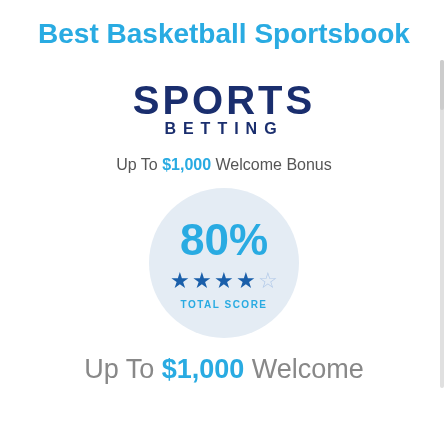Best Basketball Sportsbook
[Figure (logo): SportsBetting logo with 'SPORTS' in large bold dark navy letters and 'BETTING' in smaller spaced dark navy letters below]
Up To $1,000 Welcome Bonus
[Figure (infographic): Circle score badge showing 80% in blue, 4 filled blue stars and 1 empty star, with 'TOTAL SCORE' label below]
Up To $1,000 Welcome